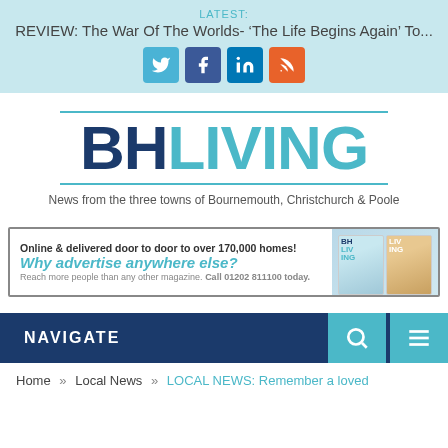LATEST: REVIEW: The War Of The Worlds- ‘The Life Begins Again’ To...
[Figure (screenshot): Social media icons: Twitter (blue), Facebook (dark blue), LinkedIn (dark blue), RSS (orange)]
[Figure (logo): BH LIVING logo - BH in dark navy, LIVING in teal/cyan, with tagline: News from the three towns of Bournemouth, Christchurch & Poole]
[Figure (infographic): Advertisement banner: Online & delivered door to door to over 170,000 homes! Why advertise anywhere else? Reach more people than any other magazine. Call 01202 811100 today. With BH Living magazine cover images on right.]
NAVIGATE | Home » Local News » LOCAL NEWS: Remember a loved